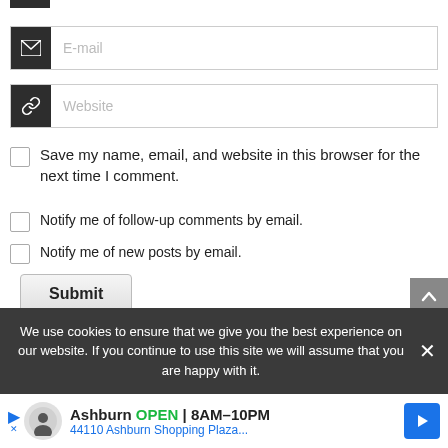[Figure (screenshot): E-mail input field with dark icon on left showing envelope icon]
[Figure (screenshot): Website input field with dark icon on left showing link/chain icon]
Save my name, email, and website in this browser for the next time I comment.
Notify me of follow-up comments by email.
Notify me of new posts by email.
Submit
We use cookies to ensure that we give you the best experience on our website. If you continue to use this site we will assume that you are happy with it.
[Figure (infographic): Advertisement banner: Ashburn OPEN 8AM-10PM, 44110 Ashburn Shopping Plaza...]